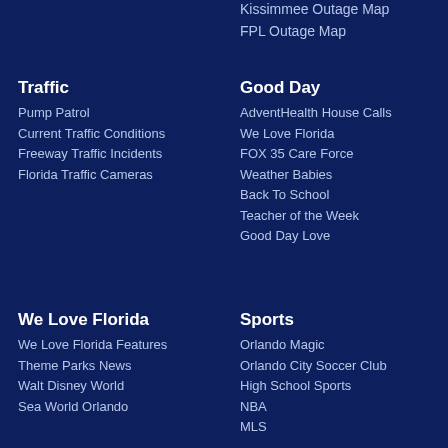Kissimmee Outage Map
FPL Outage Map
Traffic
Pump Patrol
Current Traffic Conditions
Freeway Traffic Incidents
Florida Traffic Cameras
Good Day
AdventHealth House Calls
We Love Florida
FOX 35 Care Force
Weather Babies
Back To School
Teacher of the Week
Good Day Love
We Love Florida
We Love Florida Features
Theme Parks News
Walt Disney World
Sea World Orlando
Sports
Orlando Magic
Orlando City Soccer Club
High School Sports
NBA
MLS